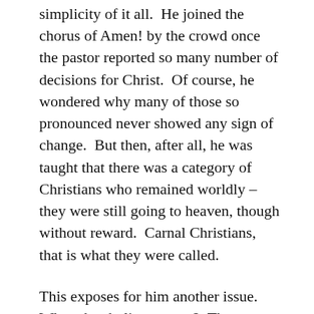simplicity of it all.  He joined the chorus of Amen! by the crowd once the pastor reported so many number of decisions for Christ.  Of course, he wondered why many of those so pronounced never showed any sign of change.  But then, after all, he was taught that there was a category of Christians who remained worldly – they were still going to heaven, though without reward.  Carnal Christians, that is what they were called.
This exposes for him another issue.  Where has holiness gone?  The teaching he received is to the effect that holiness is a second blessing that many, unfortunately, never attain to.  They remain unsanctified most, or even all, of